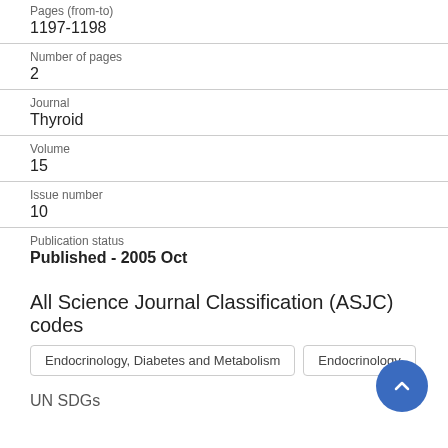Pages (from-to)
1197-1198
Number of pages
2
Journal
Thyroid
Volume
15
Issue number
10
Publication status
Published - 2005 Oct
All Science Journal Classification (ASJC) codes
Endocrinology, Diabetes and Metabolism
Endocrinology
UN SDGs